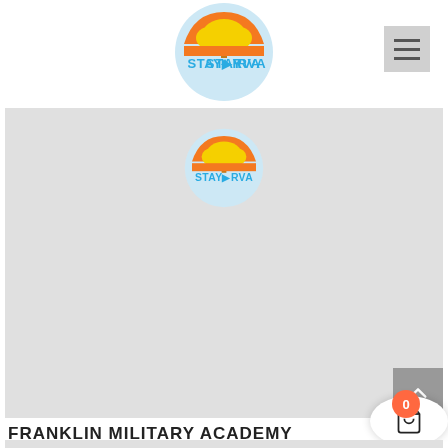[Figure (logo): StayRVA logo in navigation bar - circular logo with orange/yellow tree and blue text STAYRVA]
[Figure (logo): StayRVA logo centered in gray content area - same circular logo with orange/yellow tree and blue text STAYRVA]
FRANKLIN MILITARY ACADEMY